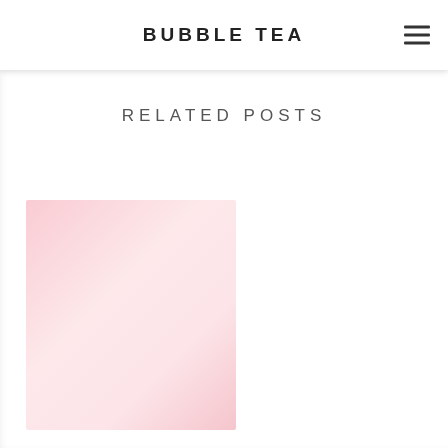BUBBLE TEA
RELATED POSTS
[Figure (photo): Pink/rose gradient placeholder image for a blog post card]
5 THINGS I DO EVERY MORNING TO STAY PRODUCTIVE